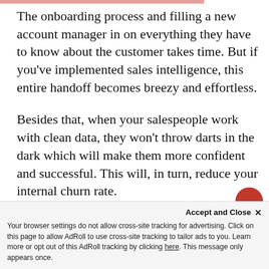The onboarding process and filling a new account manager in on everything they have to know about the customer takes time. But if you've implemented sales intelligence, this entire handoff becomes breezy and effortless.
Besides that, when your salespeople work with clean data, they won't throw darts in the dark which will make them more confident and successful. This will, in turn, reduce your internal churn rate.
Accept and Close ✕ Your browser settings do not allow cross-site tracking for advertising. Click on this page to allow AdRoll to use cross-site tracking to tailor ads to you. Learn more or opt out of this AdRoll tracking by clicking here. This message only appears once.